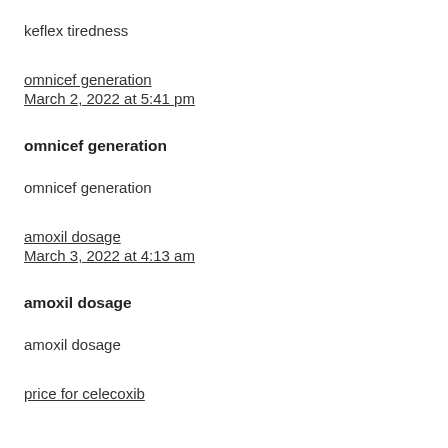keflex tiredness
omnicef generation
March 2, 2022 at 5:41 pm
omnicef generation
omnicef generation
amoxil dosage
March 3, 2022 at 4:13 am
amoxil dosage
amoxil dosage
price for celecoxib